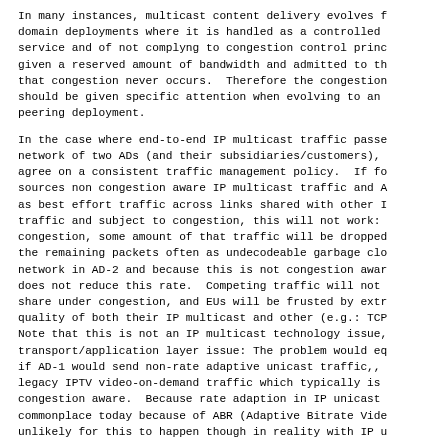In many instances, multicast content delivery evolves f domain deployments where it is handled as a controlled service and of not complyng to congestion control princ given a reserved amount of bandwidth and admitted to th that congestion never occurs.  Therefore the congestion should be given specific attention when evolving to an peering deployment.
In the case where end-to-end IP multicast traffic passe network of two ADs (and their subsidiaries/customers), agree on a consistent traffic management policy.  If fo sources non congestion aware IP multicast traffic and A as best effort traffic across links shared with other I traffic and subject to congestion, this will not work: congestion, some amount of that traffic will be dropped the remaining packets often as undecodeable garbage clo network in AD-2 and because this is not congestion awar does not reduce this rate.  Competing traffic will not share under congestion, and EUs will be frusted by extr quality of both their IP multicast and other (e.g.: TCP Note that this is not an IP multicast technology issue, transport/application layer issue: The problem would eq if AD-1 would send non-rate adaptive unicast traffic,, legacy IPTV video-on-demand traffic which typically is congestion aware.  Because rate adaption in IP unicast commonplace today because of ABR (Adaptive Bitrate Vide unlikely for this to happen though in reality with IP u
While the rules for traffic management apply whether or multicast is tunneled or not, the one feature that can